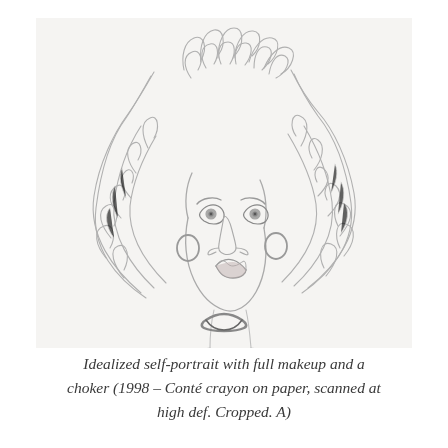[Figure (illustration): Pencil or Conté crayon drawing of a woman with voluminous curly hair, hoop earrings, a choker necklace, and visible upper torso. The sketch is rendered in graphite/grey tones on a light background.]
Idealized self-portrait with full makeup and a choker (1998 – Conté crayon on paper, scanned at high def. Cropped. A)